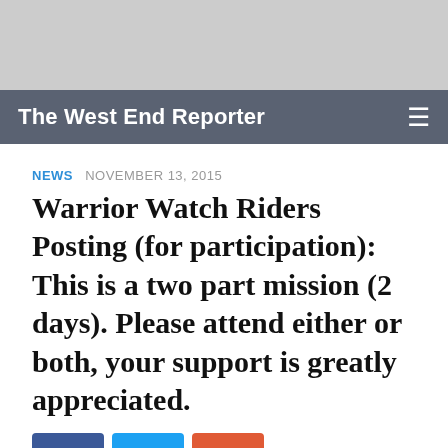[Figure (other): Grey advertisement banner at top of page]
The West End Reporter
NEWS  NOVEMBER 13, 2015
Warrior Watch Riders Posting (for participation): This is a two part mission (2 days). Please attend either or both, your support is greatly appreciated.
[Figure (other): Social sharing buttons: Facebook (blue), Twitter (light blue), Google Plus (orange)]
Posted for Cindy Sherman Warrior Watch Riders Posting (for participation): This is a two part mission (2 days). Please attend either or both, your support is greatly appreciated. 11/13/2015 Warriors Watch